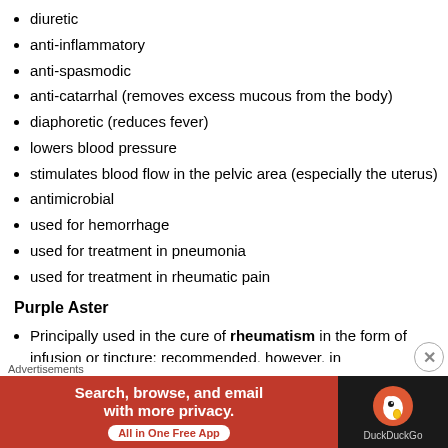diuretic
anti-inflammatory
anti-spasmodic
anti-catarrhal (removes excess mucous from the body)
diaphoretic (reduces fever)
lowers blood pressure
stimulates blood flow in the pelvic area (especially the uterus)
antimicrobial
used for hemorrhage
used for treatment in pneumonia
used for treatment in rheumatic pain
Purple Aster
Principally used in the cure of rheumatism in the form of infusion or tincture; recommended, however, in
[Figure (screenshot): DuckDuckGo advertisement banner: orange/red background with text 'Search, browse, and email with more privacy. All in One Free App' and DuckDuckGo logo on dark background on the right.]